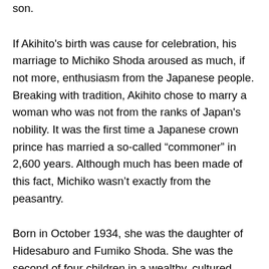son.
If Akihito's birth was cause for celebration, his marriage to Michiko Shoda aroused as much, if not more, enthusiasm from the Japanese people. Breaking with tradition, Akihito chose to marry a woman who was not from the ranks of Japan's nobility. It was the first time a Japanese crown prince has married a so-called “commoner” in 2,600 years. Although much has been made of this fact, Michiko wasn’t exactly from the peasantry.
Born in October 1934, she was the daughter of Hidesaburo and Fumiko Shoda. She was the second of four children in a wealthy, cultured Japanese family that was prominent in industrial and academic circles. Her father was the president of the Nisshin Flour Milling Company. Michiko attended the University of the Sacred Heart (or Seishin, in Japanese), a prestigious all-women’s school.